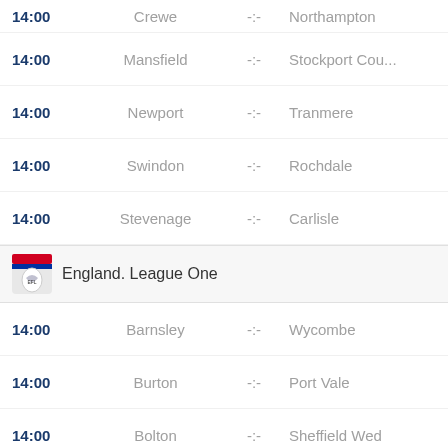14:00 Crewe -:- Northampton
14:00 Mansfield -:- Stockport Cou...
14:00 Newport -:- Tranmere
14:00 Swindon -:- Rochdale
14:00 Stevenage -:- Carlisle
England. League One
14:00 Barnsley -:- Wycombe
14:00 Burton -:- Port Vale
14:00 Bolton -:- Sheffield Wed
14:00 MK Dons -:- Accrington
14:00 Oxford Utd -:- Morecambe
14:00 Peterborough -:- Lincoln
14:00 Portsmouth -:- Bristol Rovers
14:00 Fleetwood -:- Derby